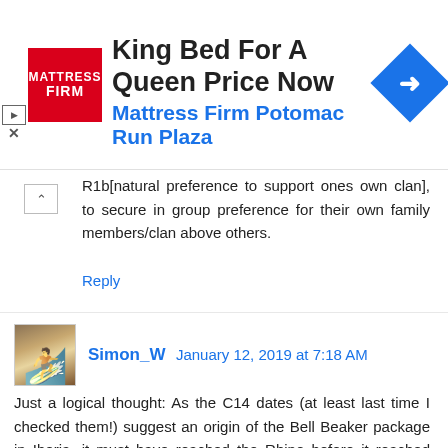[Figure (other): Advertisement banner: Mattress Firm logo (red background, white text), headline 'King Bed For A Queen Price Now', subline 'Mattress Firm Potomac Run Plaza', blue diamond navigation icon]
R1b[natural preference to support ones own clan], to secure in group preference for their own family members/clan above others.
Reply
Simon_W January 12, 2019 at 7:18 AM
Just a logical thought: As the C14 dates (at least last time I checked them!) suggest an origin of the Bell Beaker package in Iberia, it must have reached the Rhine before it reached Hungary. Moreover the Bell Beaker presence in Hungary is scant, there's just a little along the Danube. So if "THE" northern Beakers rich in R1b-P312 were really from Hungary, it would either mean that Hungarian Beakers - in a bounce-back movement - completely replaced the original German Beakers, or that Yamnaya descended people from Hungary moved to Germany,